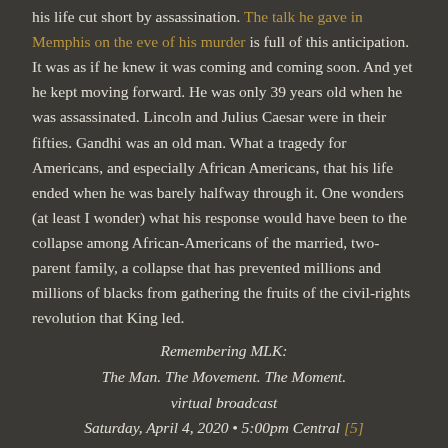his life cut short by assassination. The talk he gave in Memphis on the eve of his murder is full of this anticipation. It was as if he knew it was coming and coming soon. And yet he kept moving forward. He was only 39 years old when he was assassinated. Lincoln and Julius Caesar were in their fifties. Gandhi was an old man. What a tragedy for Americans, and especially African Americans, that his life ended when he was barely halfway through it. One wonders (at least I wonder) what his response would have been to the collapse among African-Americans of the married, two-parent family, a collapse that has prevented millions and millions of blacks from gathering the fruits of the civil-rights revolution that King led.
Remembering MLK:
The Man. The Movement. The Moment.
virtual broadcast
Saturday, April 4, 2020 • 5:00pm Central [5]
The National Civil Rights Museum will present a virtual commemoration in honor of Dr. King's life and legacy on the